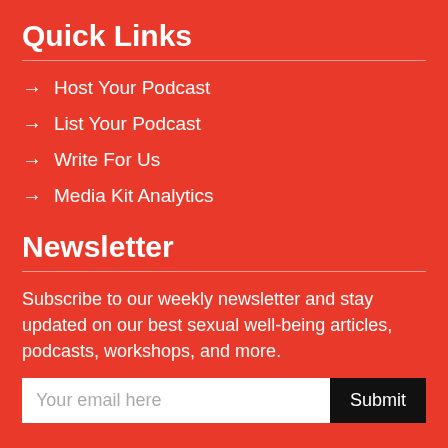Quick Links
→ Host Your Podcast
→ List Your Podcast
→ Write For Us
→ Media Kit Analytics
Newsletter
Subscribe to our weekly newsletter and stay updated on our best sexual well-being articles, podcasts, workshops, and more.
Your email here  [Submit]